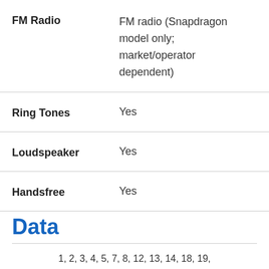| FM Radio | FM radio (Snapdragon model only; market/operator dependent) |
| Ring Tones | Yes |
| Loudspeaker | Yes |
| Handsfree | Yes |
Data
1, 2, 3, 4, 5, 7, 8, 12, 13, 14, 18, 19,